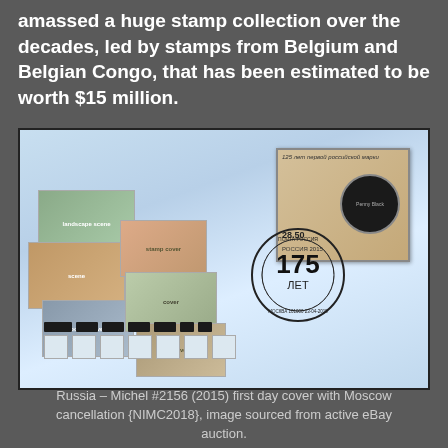amassed a huge stamp collection over the decades, led by stamps from Belgium and Belgian Congo, that has been estimated to be worth $15 million.
[Figure (photo): Russia – Michel #2156 (2015) first day cover with Moscow cancellation, showing multiple philatelic envelope cards, a main stamp, postmark with '175 years' anniversary design, and barcode strips at the bottom.]
Russia – Michel #2156 (2015) first day cover with Moscow cancellation {NIMC2018}, image sourced from active eBay auction.